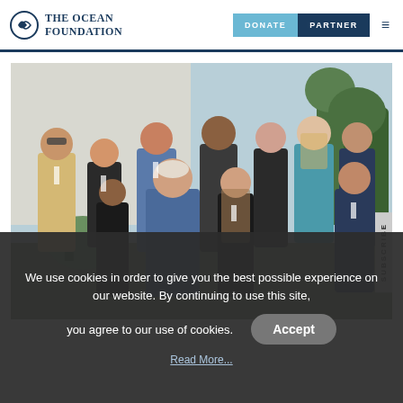The Ocean Foundation — DONATE | PARTNER
[Figure (photo): Group photo of approximately 10 people standing outdoors in front of a building, some wearing conference lanyards/badges. Mix of men and women of various ethnicities. Trees and sky visible in background.]
We use cookies in order to give you the best possible experience on our website. By continuing to use this site, you agree to our use of cookies.
Accept
Read More...